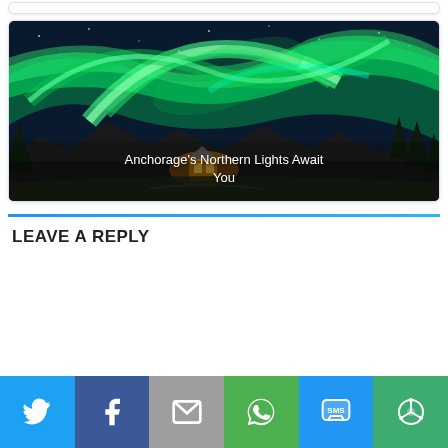[Figure (photo): Aurora borealis (Northern Lights) over a dark landscape with mountains and a lit cabin, with overlaid text 'Anchorage's Northern Lights Await You']
Anchorage's Northern Lights Await You
LEAVE A REPLY
[Figure (infographic): Social sharing bar with Twitter, Facebook, Email, WhatsApp, SMS, and More buttons]